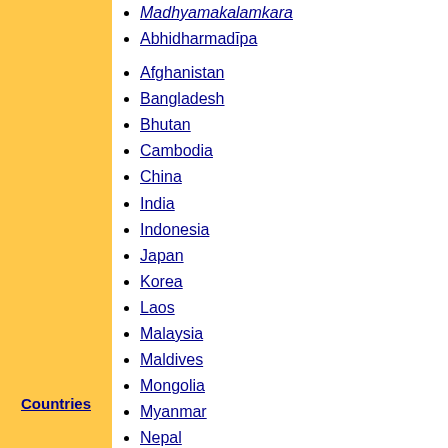Madhyamakalankara
Abhidharmadipa
Afghanistan
Bangladesh
Bhutan
Cambodia
China
India
Indonesia
Japan
Korea
Laos
Malaysia
Maldives
Mongolia
Myanmar
Nepal
Pakistan
Philippines
Russia
Kalmykia
Buryatia
Singapore
Sri Lanka
Countries